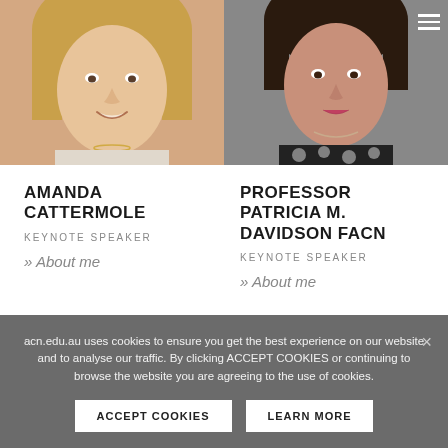[Figure (photo): Headshot photo of Amanda Cattermole, a blonde woman smiling]
[Figure (photo): Headshot photo of Professor Patricia M. Davidson FACN, a woman with dark hair in a patterned black and white top]
AMANDA CATTERMOLE
KEYNOTE SPEAKER
» About me
PROFESSOR PATRICIA M. DAVIDSON FACN
KEYNOTE SPEAKER
» About me
acn.edu.au uses cookies to ensure you get the best experience on our website and to analyse our traffic. By clicking ACCEPT COOKIES or continuing to browse the website you are agreeing to the use of cookies.
ACCEPT COOKIES
LEARN MORE